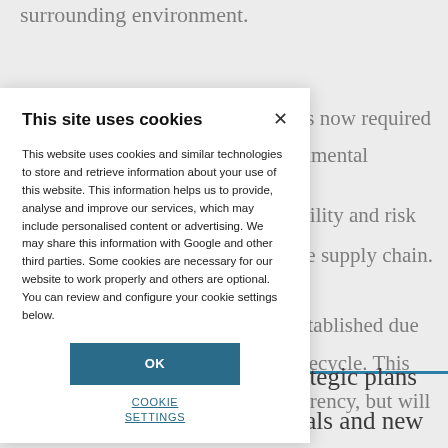surrounding environment.
ers now required
onmental
ability and risk
the supply chain.
established due
lifecycle. This
parency, but will
ct metals mining
rategic plans
rials and new
[Figure (screenshot): Cookie consent modal overlay on a webpage. Title: 'This site uses cookies'. Body text: 'This website uses cookies and similar technologies to store and retrieve information about your use of this website. This information helps us to provide, analyse and improve our services, which may include personalised content or advertising. We may share this information with Google and other third parties. Some cookies are necessary for our website to work properly and others are optional. You can review and configure your cookie settings below.' Contains an OK button (teal/blue) and a COOKIE SETTINGS link.]